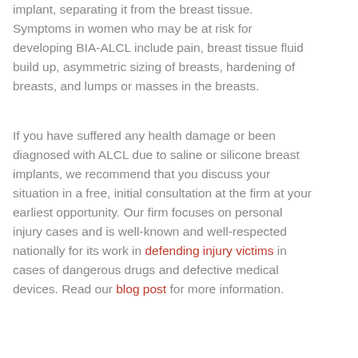implant, separating it from the breast tissue. Symptoms in women who may be at risk for developing BIA-ALCL include pain, breast tissue fluid build up, asymmetric sizing of breasts, hardening of breasts, and lumps or masses in the breasts.
If you have suffered any health damage or been diagnosed with ALCL due to saline or silicone breast implants, we recommend that you discuss your situation in a free, initial consultation at the firm at your earliest opportunity. Our firm focuses on personal injury cases and is well-known and well-respected nationally for its work in defending injury victims in cases of dangerous drugs and defective medical devices. Read our blog post for more information.